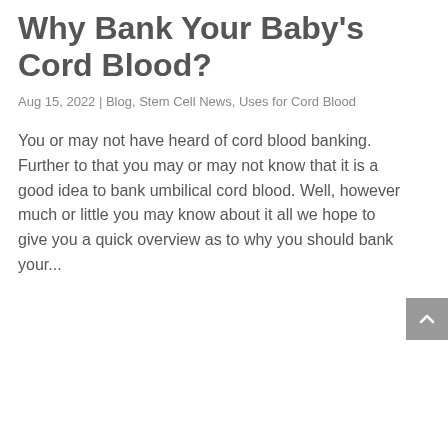Why Bank Your Baby's Cord Blood?
Aug 15, 2022 | Blog, Stem Cell News, Uses for Cord Blood
You or may not have heard of cord blood banking. Further to that you may or may not know that it is a good idea to bank umbilical cord blood. Well, however much or little you may know about it all we hope to give you a quick overview as to why you should bank your...